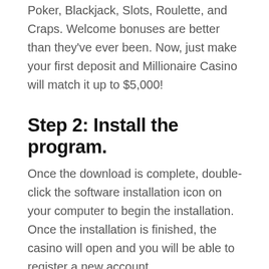Poker, Blackjack, Slots, Roulette, and Craps. Welcome bonuses are better than they've ever been. Now, just make your first deposit and Millionaire Casino will match it up to $5,000!
Step 2: Install the program.
Once the download is complete, double-click the software installation icon on your computer to begin the installation. Once the installation is finished, the casino will open and you will be able to register a new account.
Enrolling in the Millionaire Casino's free Millionaire Casino account will immediately enroll you in their exclusive VIP Plan! In contrast to most online casinos, their VIP program is straightforward: the more you play,